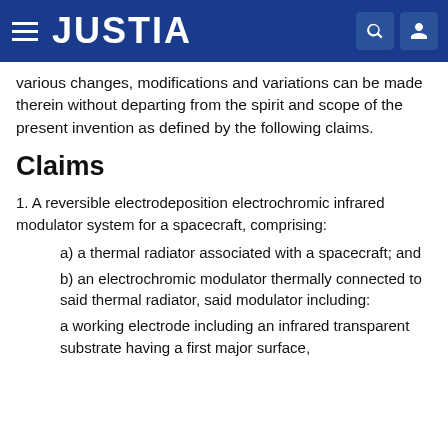JUSTIA
various changes, modifications and variations can be made therein without departing from the spirit and scope of the present invention as defined by the following claims.
Claims
1. A reversible electrodeposition electrochromic infrared modulator system for a spacecraft, comprising:
a) a thermal radiator associated with a spacecraft; and
b) an electrochromic modulator thermally connected to said thermal radiator, said modulator including:
a working electrode including an infrared transparent substrate having a first major surface,